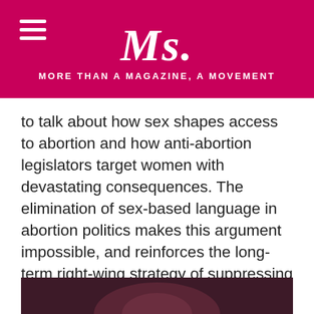Ms. MORE THAN A MAGAZINE, A MOVEMENT
to talk about how sex shapes access to abortion and how anti-abortion legislators target women with devastating consequences. The elimination of sex-based language in abortion politics makes this argument impossible, and reinforces the long-term right-wing strategy of suppressing information about sex-based disparities.
< OLDER POSTS
NEWER POSTS >
[Figure (photo): Partial view of a person at the bottom of the page, dark tones]